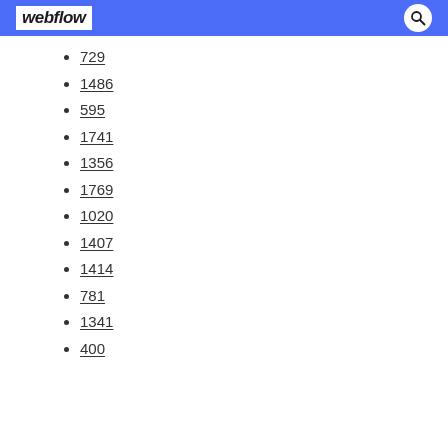webflow
729
1486
595
1741
1356
1769
1020
1407
1414
781
1341
400